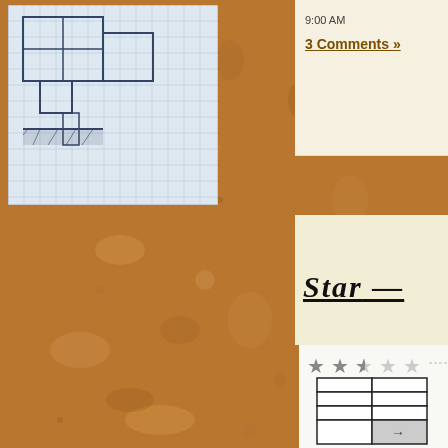[Figure (illustration): Top-left: graph paper sketch with floor plan/dungeon room drawing in pencil/pen, showing rectangular rooms and corridors on blue grid paper]
9:00 AM
3 Comments »
[Figure (illustration): Middle area: cream/beige parchment-style card with italic bold underlined text 'Star' partially visible]
[Figure (illustration): Bottom right panel: star rating (2 filled stars and partial third star out of 5) with a grid/table below showing rectangular cells, bottom row has arrow symbol in shaded cell]
[Figure (photo): Cork board background texture filling most of the page in brown/tan color]